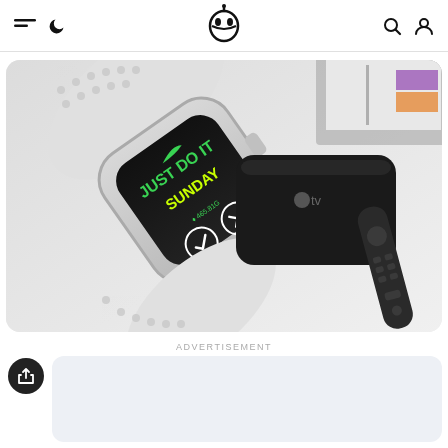Navigation bar with hamburger menu, moon/dark-mode icon, robot logo, search icon, user icon
[Figure (photo): Hero banner showing an Apple Watch Nike Edition with 'JUST DO IT SUNDAY' on screen, an Apple TV 4th gen box with remote, and partial view of a colorful iMac in the background, on a light gray surface]
ADVERTISEMENT
[Figure (other): Share/export circular button (dark) and a light blue-gray advertisement placeholder rectangle]